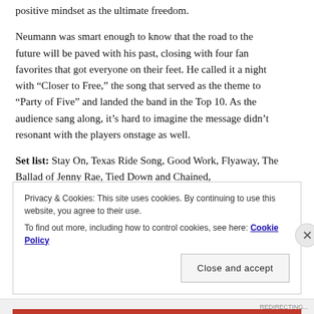positive mindset as the ultimate freedom.
Neumann was smart enough to know that the road to the future will be paved with his past, closing with four fan favorites that got everyone on their feet. He called it a night with “Closer to Free,” the song that served as the theme to “Party of Five” and landed the band in the Top 10. As the audience sang along, it’s hard to imagine the message didn’t resonant with the players onstage as well.
Set list: Stay On, Texas Ride Song, Good Work, Flyaway, The Ballad of Jenny Rae, Tied Down and Chained,
Privacy & Cookies: This site uses cookies. By continuing to use this website, you agree to their use.
To find out more, including how to control cookies, see here: Cookie Policy